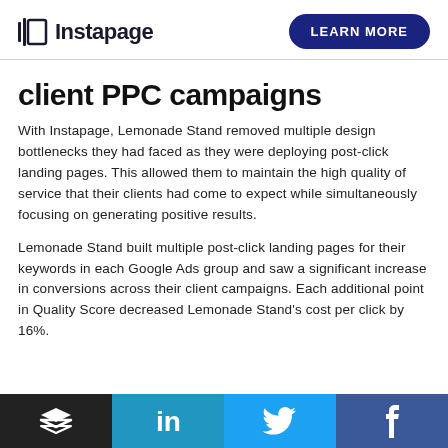Instapage | LEARN MORE
client PPC campaigns
With Instapage, Lemonade Stand removed multiple design bottlenecks they had faced as they were deploying post-click landing pages. This allowed them to maintain the high quality of service that their clients had come to expect while simultaneously focusing on generating positive results.
Lemonade Stand built multiple post-click landing pages for their keywords in each Google Ads group and saw a significant increase in conversions across their client campaigns. Each additional point in Quality Score decreased Lemonade Stand's cost per click by 16%.
[Figure (infographic): Social media sharing bar at the bottom with four segments: black (Buffer/layers icon), blue (LinkedIn), light blue (Twitter bird), dark blue (Facebook f)]